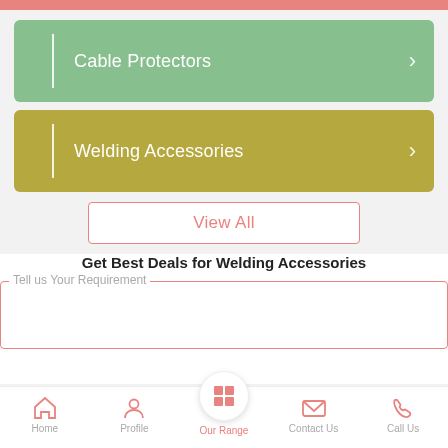Cable Protectors
Welding Accessories
View All
Get Best Deals for Welding Accessories
Tell us Your Requirement
Home  Profile  Our Range  Contact Us  Call Us